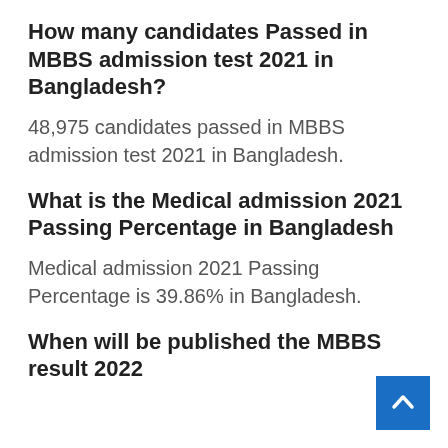How many candidates Passed in MBBS admission test 2021 in Bangladesh?
48,975 candidates passed in MBBS admission test 2021 in Bangladesh.
What is the Medical admission 2021 Passing Percentage in Bangladesh
Medical admission 2021 Passing Percentage is 39.86% in Bangladesh.
When will be published the MBBS result 2022